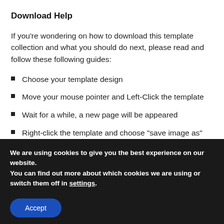Download Help
If you’re wondering on how to download this template collection and what you should do next, please read and follow these following guides:
Choose your template design
Move your mouse pointer and Left-Click the template
Wait for a while, a new page will be appeared
Right-click the template and choose “save image as”
We are using cookies to give you the best experience on our website.
You can find out more about which cookies we are using or switch them off in settings.
Accept